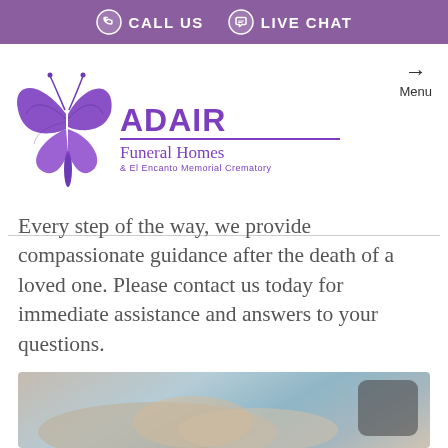CALL US   LIVE CHAT
[Figure (logo): Adair Funeral Homes & El Encanto Memorial Crematory logo with purple butterfly]
Menu
Every step of the way, we provide compassionate guidance after the death of a loved one. Please contact us today for immediate assistance and answers to your questions.
[Figure (photo): Hands joined together in comfort, with a blurred background. A dark rounded square overlay is visible in the upper right corner.]